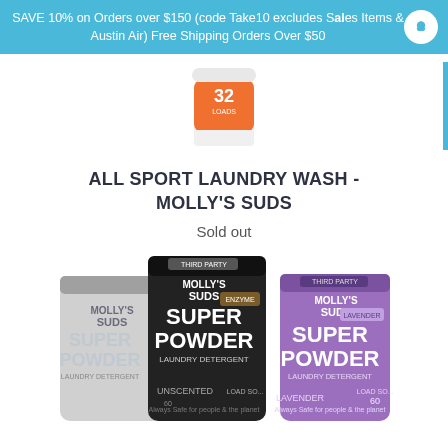SAVE 10% on Orders over $150 (code Take10 excludes Sales Items & Austin Air) Free Shipping Orders Over $50
[Figure (photo): Orange container of All Sport Laundry Wash product, showing '32' loads label]
ALL SPORT LAUNDRY WASH - MOLLY'S SUDS
Sold out
[Figure (photo): Three pouches of Molly's Suds Super Powder Laundry Detergent in gray/white, black (unscented), and purple variants, showing 60 load size]